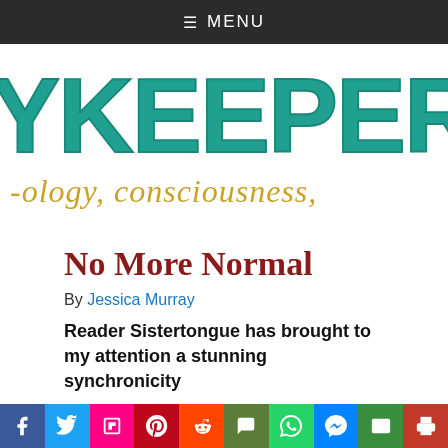≡ MENU
[Figure (logo): Skykeeper Journal logo — partial text showing 'YKEEPER J' in teal block letters and 'ology, consciousness,' in golden handwritten script]
No More Normal
By Jessica Murray
Reader Sistertongue has brought to my attention a stunning synchronicity
[Figure (infographic): Social sharing buttons row: Facebook, Twitter, Flipboard, Pinterest, Reddit, Comments, WhatsApp, Messenger, Email, Print]